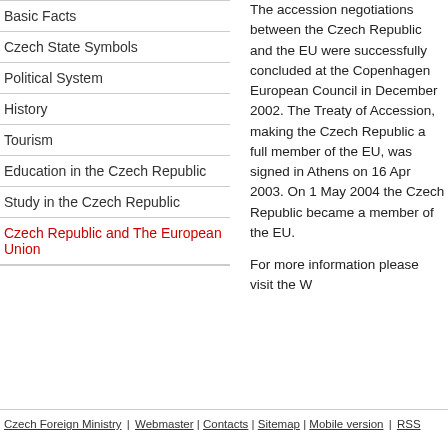Basic Facts
Czech State Symbols
Political System
History
Tourism
Education in the Czech Republic
Study in the Czech Republic
Czech Republic and The European Union
The accession negotiations between the Czech Republic and the EU were successfully concluded at the Copenhagen European Council in December 2002. The Treaty of Accession, making the Czech Republic a full member of the EU, was signed in Athens on 16 April 2003. On 1 May 2004 the Czech Republic became a member of the EU.
For more information please visit the W...
Czech Foreign Ministry | Webmaster | Contacts | Sitemap | Mobile version | RSS